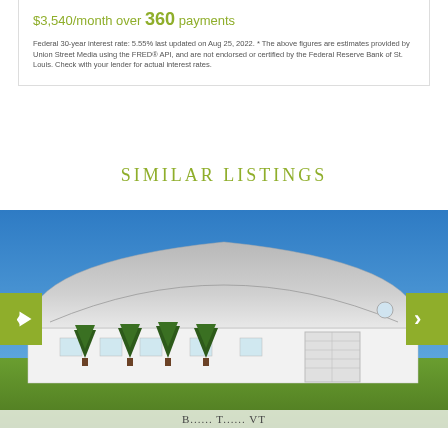$3,540/month over 360 payments
Federal 30-year interest rate: 5.55% last updated on Aug 25, 2022. * The above figures are estimates provided by Union Street Media using the FRED® API, and are not endorsed or certified by the Federal Reserve Bank of St. Louis. Check with your lender for actual interest rates.
SIMILAR LISTINGS
[Figure (photo): Exterior photo of a large white barn with a rounded gambrel roof, several evergreen trees in front, a garage door on the right side, and a bright blue sky background. Green navigation arrows appear on left and right sides of the image.]